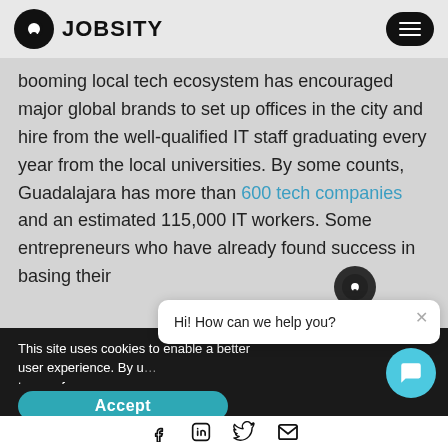JOBSITY
booming local tech ecosystem has encouraged major global brands to set up offices in the city and hire from the well-qualified IT staff graduating every year from the local universities. By some counts, Guadalajara has more than 600 tech companies and an estimated 115,000 IT workers. Some entrepreneurs who have already found success in basing their
This site uses cookies to enable a better user experience. By u... terms of use.
Hi! How can we help you?
Accept